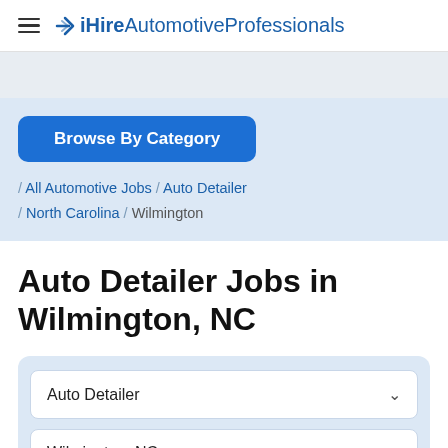iHireAutomotiveProfessionals
Browse By Category
/ All Automotive Jobs / Auto Detailer / North Carolina / Wilmington
Auto Detailer Jobs in Wilmington, NC
Auto Detailer
Wilmington, NC